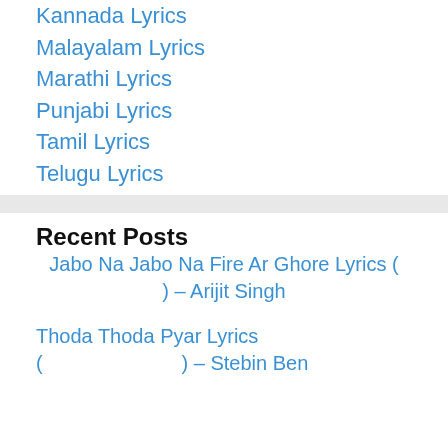Kannada Lyrics
Malayalam Lyrics
Marathi Lyrics
Punjabi Lyrics
Tamil Lyrics
Telugu Lyrics
Recent Posts
Jabo Na Jabo Na Fire Ar Ghore Lyrics ( ) – Arijit Singh
Thoda Thoda Pyar Lyrics ( ) – Stebin Ben